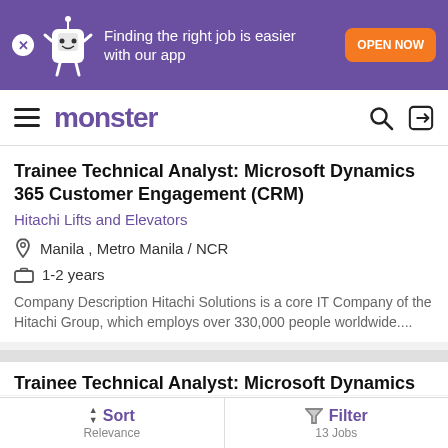[Figure (screenshot): Monster job board app banner with purple background, mascot character, and orange OPEN NOW button]
monster
Trainee Technical Analyst: Microsoft Dynamics 365 Customer Engagement (CRM)
Hitachi Lifts and Elevators
Manila , Metro Manila / NCR
1-2 years
Company Description Hitachi Solutions is a core IT Company of the Hitachi Group, which employs over 330,000 people worldwide....
Posted: 21 days ago |
Trainee Technical Analyst: Microsoft Dynamics
Sort Relevance | Filter 13 Jobs